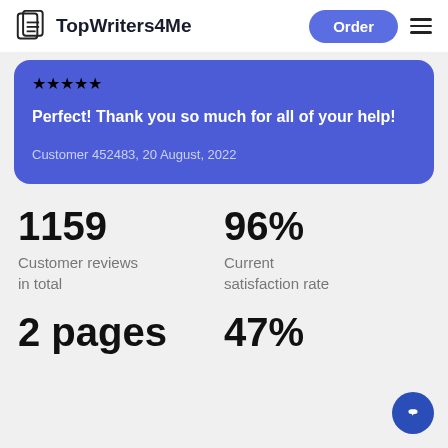TopWriters4Me | Order
Perfect! Thank you so much for all of your help!
Customer 452483, 20 August, 2022
1159
Customer reviews in total
96%
Current satisfaction rate
2 pages (partial)
47% (partial)